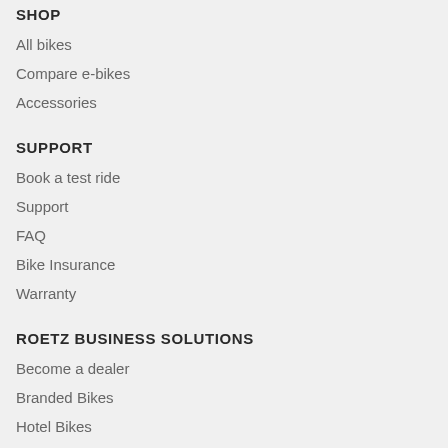SHOP
All bikes
Compare e-bikes
Accessories
SUPPORT
Book a test ride
Support
FAQ
Bike Insurance
Warranty
ROETZ BUSINESS SOLUTIONS
Become a dealer
Branded Bikes
Hotel Bikes